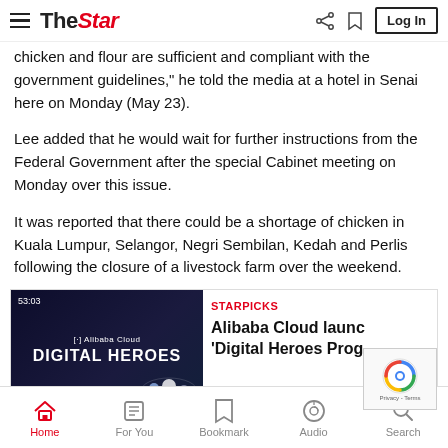The Star — Log In
chicken and flour are sufficient and compliant with the government guidelines," he told the media at a hotel in Senai here on Monday (May 23).
Lee added that he would wait for further instructions from the Federal Government after the special Cabinet meeting on Monday over this issue.
It was reported that there could be a shortage of chicken in Kuala Lumpur, Selangor, Negri Sembilan, Kedah and Perlis following the closure of a livestock farm over the weekend.
[Figure (screenshot): STARPICKS promotional card for Alibaba Cloud 'Digital Heroes Programme' with a thumbnail image showing the Alibaba Cloud Digital Heroes branding and a partially visible reCAPTCHA badge overlay]
Home | For You | Bookmark | Audio | Search